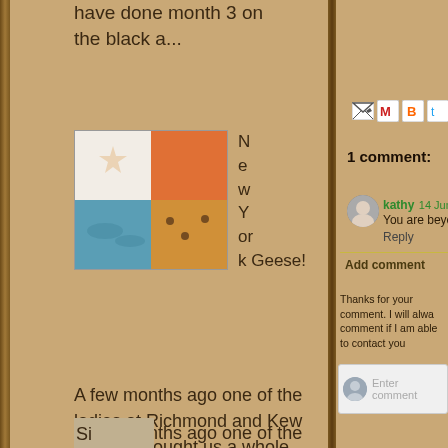have done month 3 on the black a...
[Figure (photo): Quilt squares with colorful fabric patches - orange, teal, white with floral print, orange/yellow]
New York Geese!
A few months ago one of the ladies at Richmond and Kew quilters brought us a whole load of Thermofax screens and inks (see their web site h...
[Figure (screenshot): Email and social share icons: email forward icon, Gmail M, Blogger B, Twitter bird, Facebook f, Pinterest P]
1 comment:
[Figure (photo): Small avatar photo of a cat or pet]
kathy 14 June 2020 at 16:38
You are beyond amazing, Be
Reply
Add comment
Thanks for your comment. I will alwa comment if I am able to contact you
Enter comment